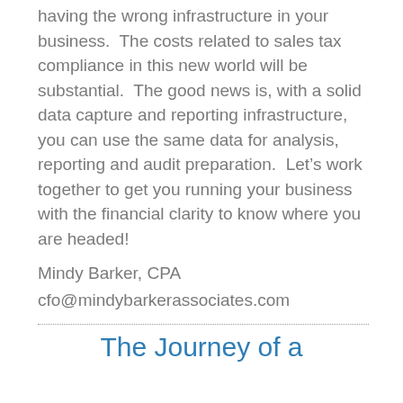having the wrong infrastructure in your business.  The costs related to sales tax compliance in this new world will be substantial.  The good news is, with a solid data capture and reporting infrastructure, you can use the same data for analysis, reporting and audit preparation.  Let’s work together to get you running your business with the financial clarity to know where you are headed!
Mindy Barker, CPA
cfo@mindybarkerassociates.com
The Journey of a